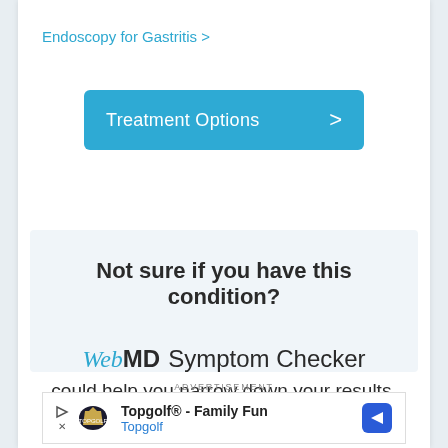Endoscopy for Gastritis >
Treatment Options >
Not sure if you have this condition?
WebMD Symptom Checker could help you narrow down your results.
ADVERTISEMENT
Topgolf® - Family Fun
Topgolf